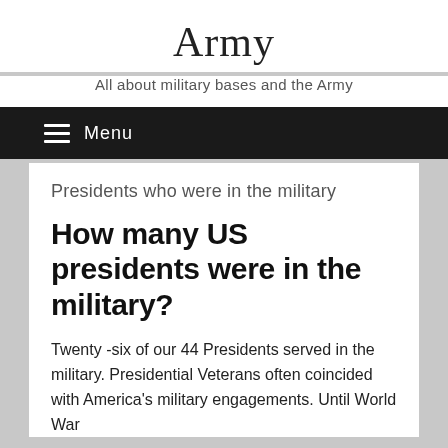Army
All about military bases and the Army
≡ Menu
Presidents who were in the military
How many US presidents were in the military?
Twenty -six of our 44 Presidents served in the military. Presidential Veterans often coincided with America's military engagements. Until World War